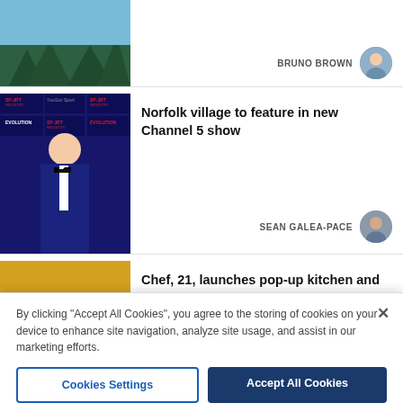[Figure (photo): Partial article card showing a landscape/nature photo (trees, blue sky) with author BRUNO BROWN and circular avatar]
BRUNO BROWN
[Figure (photo): Article card with photo of a man in a blue tuxedo at a sport industry event backdrop]
Norfolk village to feature in new Channel 5 show
SEAN GALEA-PACE
[Figure (photo): Article card with a circular photo of two people and a burger/food background]
Chef, 21, launches pop-up kitchen and takeaway in Norfolk village
By clicking "Accept All Cookies", you agree to the storing of cookies on your device to enhance site navigation, analyze site usage, and assist in our marketing efforts.
Cookies Settings
Accept All Cookies